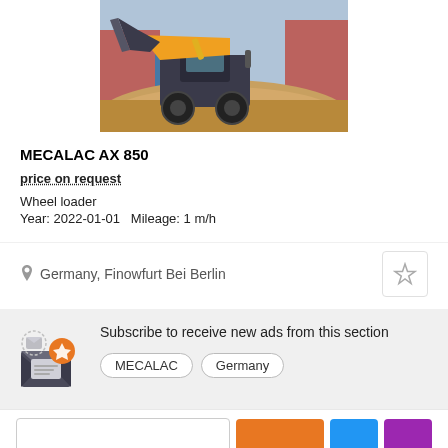[Figure (photo): A yellow and grey MECALAC AX 850 wheel loader scooping sand at a construction site, outdoors. Orange and blue buildings visible in background.]
MECALAC AX 850
price on request
Wheel loader
Year: 2022-01-01   Mileage: 1 m/h
Germany, Finowfurt Bei Berlin
Subscribe to receive new ads from this section
MECALAC   Germany